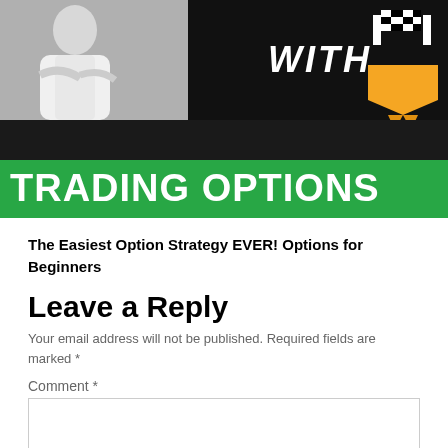[Figure (illustration): Banner image showing a person in white shirt on left against grey background, and dark background on right with bold italic white text 'WITH', checkered racing flags graphic, and an orange ribbon/award graphic. Below is a green bar with large white bold text 'TRADING OPTIONS'.]
The Easiest Option Strategy EVER! Options for Beginners
Leave a Reply
Your email address will not be published. Required fields are marked *
Comment *